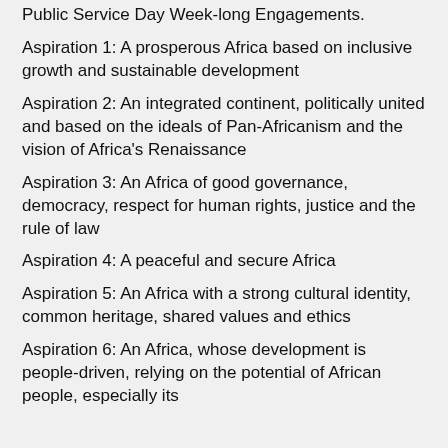Public Service Day Week-long Engagements.
Aspiration 1: A prosperous Africa based on inclusive growth and sustainable development
Aspiration 2: An integrated continent, politically united and based on the ideals of Pan-Africanism and the vision of Africa's Renaissance
Aspiration 3: An Africa of good governance, democracy, respect for human rights, justice and the rule of law
Aspiration 4: A peaceful and secure Africa
Aspiration 5: An Africa with a strong cultural identity, common heritage, shared values and ethics
Aspiration 6: An Africa, whose development is people-driven, relying on the potential of African people, especially its